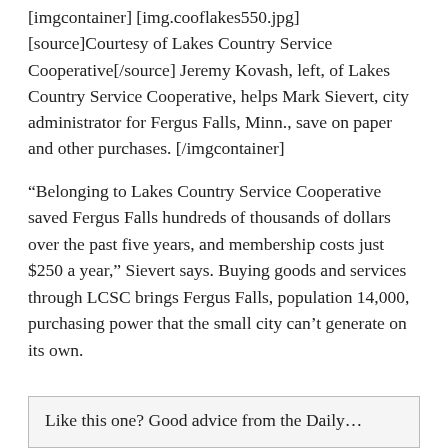[imgcontainer] [img.cooflakes550.jpg] [source]Courtesy of Lakes Country Service Cooperative[/source] Jeremy Kovash, left, of Lakes Country Service Cooperative, helps Mark Sievert, city administrator for Fergus Falls, Minn., save on paper and other purchases. [/imgcontainer]
“Belonging to Lakes Country Service Cooperative saved Fergus Falls hundreds of thousands of dollars over the past five years, and membership costs just $250 a year,” Sievert says. Buying goods and services through LCSC brings Fergus Falls, population 14,000, purchasing power that the small city can’t generate on its own.
Like this one? Good advice from the Daily...